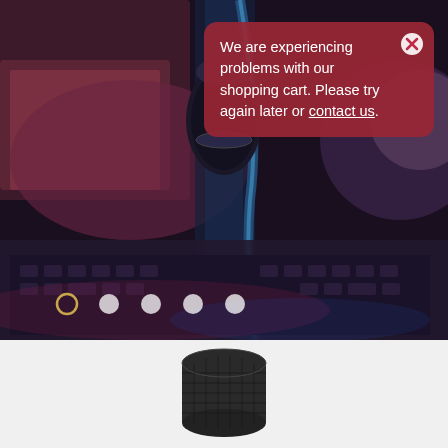[Figure (photo): Dark atmospheric photo of a Blue microphone on a stand in front of computer screens with pink and blue lighting, mechanical keyboard visible in background. A red error toast notification overlays the top-right with a close button. Five carousel dots visible at the bottom.]
We are experiencing problems with our shopping cart. Please try again later or contact us.
[Figure (photo): Bottom portion of a microphone head in dark grey/black, on white background.]